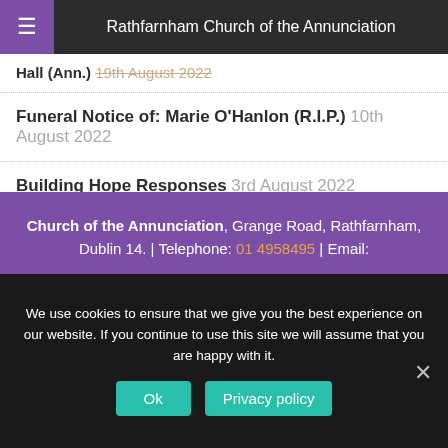Rathfarnham Church of the Annunciation
Hall (Ann.) 19th August 2022
Funeral Notice of: Marie O'Hanlon (R.I.P.) 10th August 2022
Building Hope Responses 3rd August 2022
Church of the Annunciation, Grange Road, Rathfarnham, Dublin 14. | Telephone: 01 4958495 | Email:
We use cookies to ensure that we give you the best experience on our website. If you continue to use this site we will assume that you are happy with it.